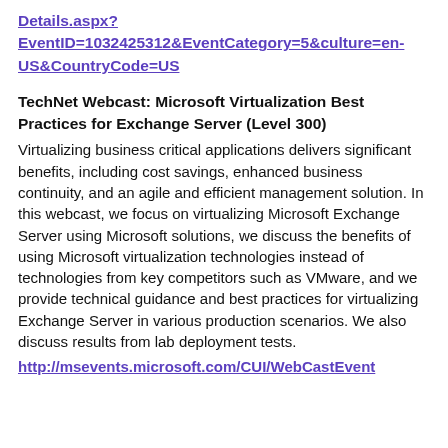Details.aspx?EventID=1032425312&EventCategory=5&culture=en-US&CountryCode=US
TechNet Webcast: Microsoft Virtualization Best Practices for Exchange Server (Level 300)
Virtualizing business critical applications delivers significant benefits, including cost savings, enhanced business continuity, and an agile and efficient management solution. In this webcast, we focus on virtualizing Microsoft Exchange Server using Microsoft solutions, we discuss the benefits of using Microsoft virtualization technologies instead of technologies from key competitors such as VMware, and we provide technical guidance and best practices for virtualizing Exchange Server in various production scenarios. We also discuss results from lab deployment tests.
http://msevents.microsoft.com/CUI/WebCastEvent